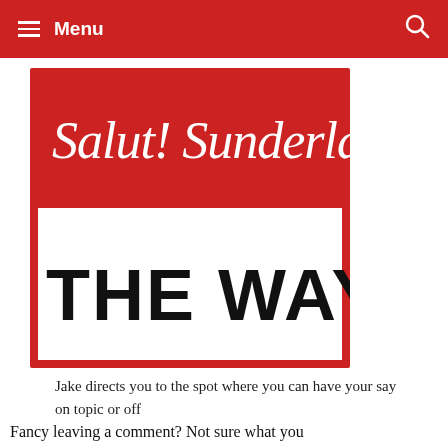Menu
[Figure (logo): Salut! Sunderland logo with cursive white text on red background, and 'THE WAY IT IS' in large bold black text on white background below]
Jake directs you to the spot where you can have your say on topic or off
Fancy leaving a comment? Not sure what you